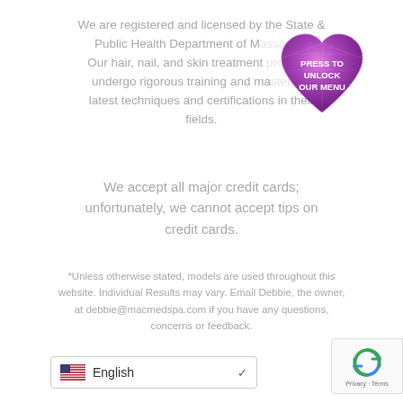We are registered and licensed by the State & Public Health Department of M[...]. Our hair, nail, and skin treatment [...] als undergo rigorous training and ma[...] the latest techniques and certifications in their fields.
[Figure (illustration): A purple/pink diamond heart gem graphic with text 'PRESS TO UNLOCK OUR MENU']
We accept all major credit cards; unfortunately, we cannot accept tips on credit cards.
*Unless otherwise stated, models are used throughout this website. Individual Results may vary. Email Debbie, the owner, at debbie@macmedspa.com if you have any questions, concerns or feedback.
[Figure (other): Language selector dropdown showing US flag and 'English']
[Figure (other): reCAPTCHA badge with rotating arrows icon and 'Privacy - Terms' text]